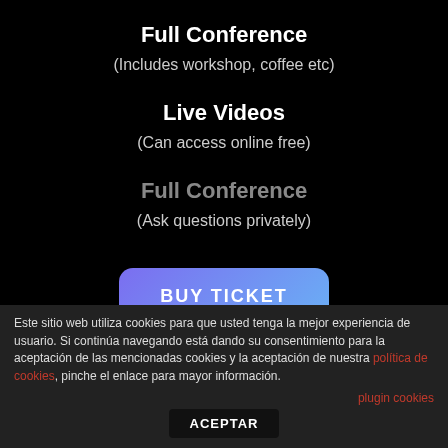Full Conference
(Includes workshop, coffee etc)
Live Videos
(Can access online free)
Full Conference
(Ask questions privately)
[Figure (other): BUY TICKET button with purple-to-blue gradient background and rounded corners]
Este sitio web utiliza cookies para que usted tenga la mejor experiencia de usuario. Si continúa navegando está dando su consentimiento para la aceptación de las mencionadas cookies y la aceptación de nuestra política de cookies, pinche el enlace para mayor información.
plugin cookies
ACEPTAR